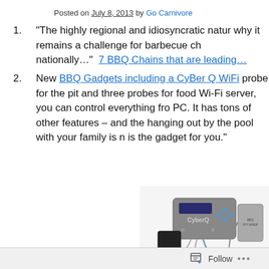Posted on July 8, 2013 by Go Carnivore
“The highly regional and idiosyncratic natur why it remains a challenge for barbecue ch nationally…”  7 BBQ Chains that are leading…
New BBQ Gadgets including a CyBer Q WiFi probe for the pit and three probes for food Wi-Fi server, you can control everything fro PC. It has tons of other features – and the hanging out by the pool with your family is n is the gadget for you.”
[Figure (photo): Photo of CyberQ WiFi BBQ gadget device with probes and accessories on white background]
Follow …